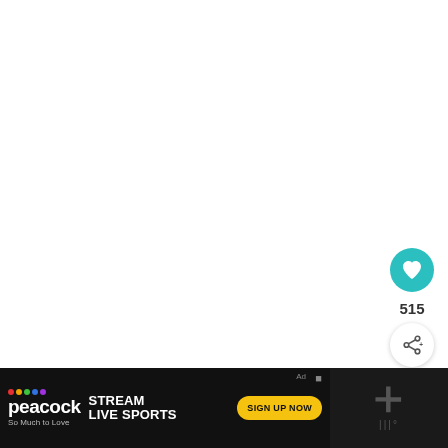[Figure (screenshot): White blank content area (main page content not visible)]
[Figure (infographic): Teal circular heart/like button with heart icon]
515
[Figure (infographic): White circular share button with share icon]
[Figure (infographic): What's Next card with thumbnail image of flowers/purple scene and text: WHAT'S NEXT → / 10 ways to have a plasti...]
[Figure (infographic): Peacock ad banner: STREAM LIVE SPORTS - So Much to Love - SIGN UP NOW button, with X close button and Ad label]